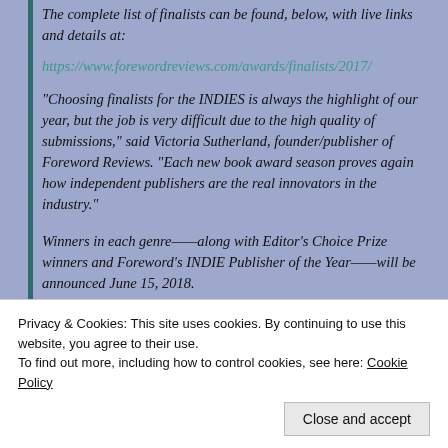The complete list of finalists can be found, below, with live links and details at:
https://www.forewordreviews.com/awards/finalists/2017/
“Choosing finalists for the INDIES is always the highlight of our year, but the job is very difficult due to the high quality of submissions,” said Victoria Sutherland, founder/publisher of Foreword Reviews. “Each new book award season proves again how independent publishers are the real innovators in the industry.”
Winners in each genre—along with Editor’s Choice Prize winners and Foreword’s INDIE Publisher of the Year—will be announced June 15, 2018.
Privacy & Cookies: This site uses cookies. By continuing to use this website, you agree to their use.
To find out more, including how to control cookies, see here: Cookie Policy
Close and accept